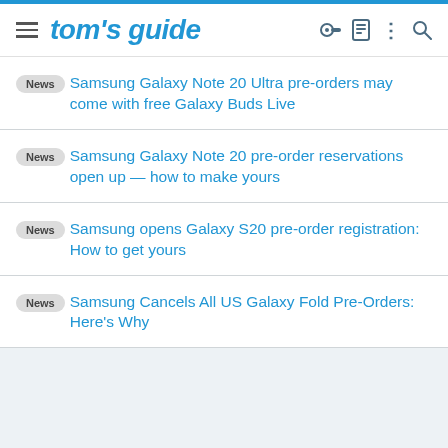tom's guide
News Samsung Galaxy Note 20 Ultra pre-orders may come with free Galaxy Buds Live
News Samsung Galaxy Note 20 pre-order reservations open up — how to make yours
News Samsung opens Galaxy S20 pre-order registration: How to get yours
News Samsung Cancels All US Galaxy Fold Pre-Orders: Here's Why